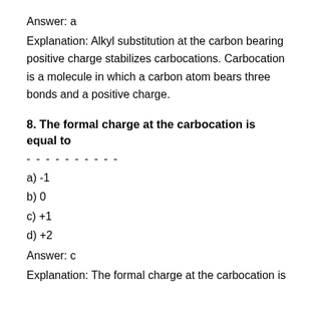Answer: a
Explanation: Alkyl substitution at the carbon bearing positive charge stabilizes carbocations. Carbocation is a molecule in which a carbon atom bears three bonds and a positive charge.
8. The formal charge at the carbocation is equal to
- - - - - - - - - -
a) -1
b) 0
c) +1
d) +2
Answer: c
Explanation: The formal charge at the carbocation is